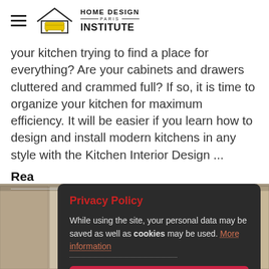HOME DESIGN — PARIS — INSTITUTE
your kitchen trying to find a place for everything? Are your cabinets and drawers cluttered and crammed full? If so, it is time to organize your kitchen for maximum efficiency. It will be easier if you learn how to design and install modern kitchens in any style with the Kitchen Interior Design ...
Rea
[Figure (photo): Interior kitchen photo showing cabinet panels in beige/tan tones at the bottom of the page]
Privacy Policy
While using the site, your personal data may be saved as well as cookies may be used. More information
I agree with the Terms of Use